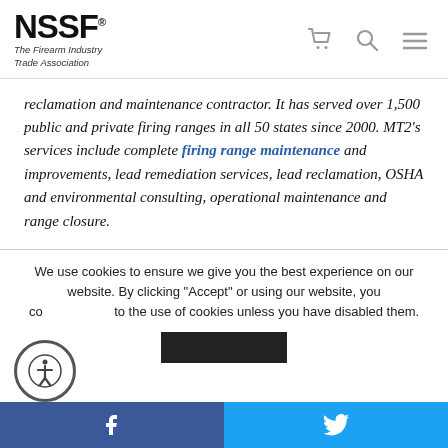[Figure (logo): NSSF logo — The Firearm Industry Trade Association]
reclamation and maintenance contractor. It has served over 1,500 public and private firing ranges in all 50 states since 2000. MT2's services include complete firing range maintenance and improvements, lead remediation services, lead reclamation, OSHA and environmental consulting, operational maintenance and range closure.
We use cookies to ensure we give you the best experience on our website. By clicking "Accept" or using our website, you consent to the use of cookies unless you have disabled them.
[Figure (infographic): Facebook and Twitter social share buttons in blue bar at the bottom]